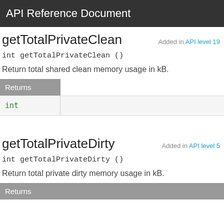API Reference Document
getTotalPrivateClean
Added in API level 19
int getTotalPrivateClean ()
Return total shared clean memory usage in kB.
| Returns |
| --- |
| int |  |
getTotalPrivateDirty
Added in API level 5
int getTotalPrivateDirty ()
Return total private dirty memory usage in kB.
| Returns |
| --- |